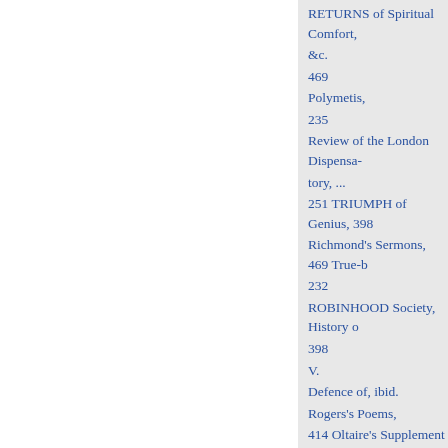RETURNS of Spiritual Comfort, &c.
469
Polymetis,
235
Review of the London Dispensa-tory, ...
251 TRIUMPH of Genius, 398
Richmond's Sermons, 469 True-b 232
ROBINHOOD Society, History o 398
V.
Defence of, ibid.
Rogers's Poems,
414 Oltaire's Supplement to
ROMAINE's Life of Faith,